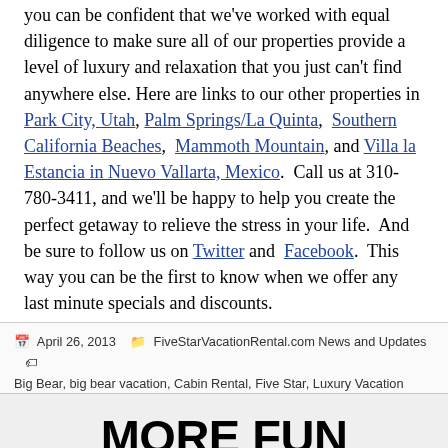you can be confident that we've worked with equal diligence to make sure all of our properties provide a level of luxury and relaxation that you just can't find anywhere else. Here are links to our other properties in Park City, Utah, Palm Springs/La Quinta, Southern California Beaches, Mammoth Mountain, and Villa la Estancia in Nuevo Vallarta, Mexico. Call us at 310-780-3411, and we'll be happy to help you create the perfect getaway to relieve the stress in your life. And be sure to follow us on Twitter and Facebook. This way you can be the first to know when we offer any last minute specials and discounts.
April 26, 2013   FiveStarVacationRental.com News and Updates   Big Bear, big bear vacation, Cabin Rental, Five Star, Luxury Vacation Rental, relaxation, vacation
MORE FUN EVENTS IN BIG BEAR FOR MAY